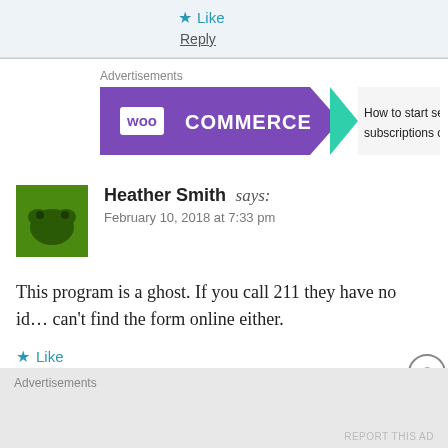Like
Reply
[Figure (other): WooCommerce advertisement banner with purple background and green arrow, text: How to start se... subscriptions o...]
Heather Smith says: February 10, 2018 at 7:33 pm
This program is a ghost. If you call 211 they have no id... can't find the form online either.
Like
Advertisements
REPORT THIS AD